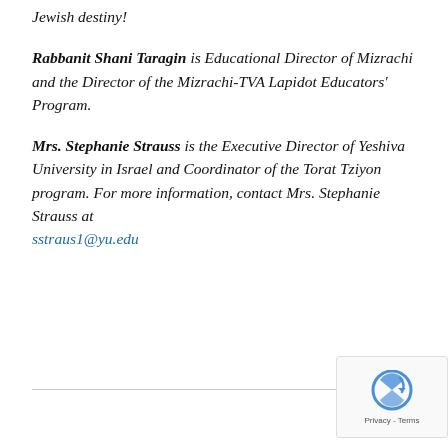Jewish destiny!
Rabbanit Shani Taragin is Educational Director of Mizrachi and the Director of the Mizrachi-TVA Lapidot Educators' Program.
Mrs. Stephanie Strauss is the Executive Director of Yeshiva University in Israel and Coordinator of the Torat Tziyon program. For more information, contact Mrs. Stephanie Strauss at sstraus1@yu.edu